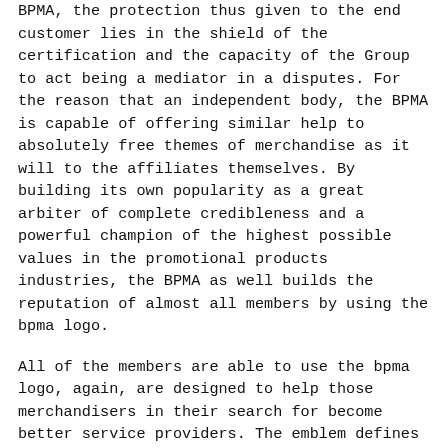BPMA, the protection thus given to the end customer lies in the shield of the certification and the capacity of the Group to act being a mediator in a disputes. For the reason that an independent body, the BPMA is capable of offering similar help to absolutely free themes of merchandise as it will to the affiliates themselves. By building its own popularity as a great arbiter of complete credibleness and a powerful champion of the highest possible values in the promotional products industries, the BPMA as well builds the reputation of almost all members by using the bpma logo.
All of the members are able to use the bpma logo, again, are designed to help those merchandisers in their search for become better service providers. The emblem defines the status of the member — for example, a co-employee member's brand